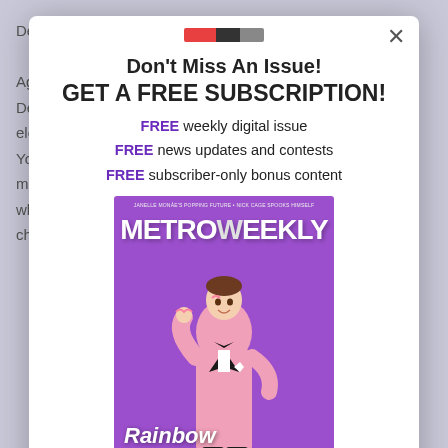Dem... ty. Again... t- Deme... elect... eat Youn... vo most... whet... cham...
Don't Miss An Issue!
GET A FREE SUBSCRIPTION!
FREE weekly digital issue
FREE news updates and contests
FREE subscriber-only bonus content
[Figure (photo): Metro Weekly magazine cover showing a man in a pink sparkly tuxedo holding glasses, with text 'Rainbow Connection' overlaid on a purple background]
Enter your first name here...
Enter your email...